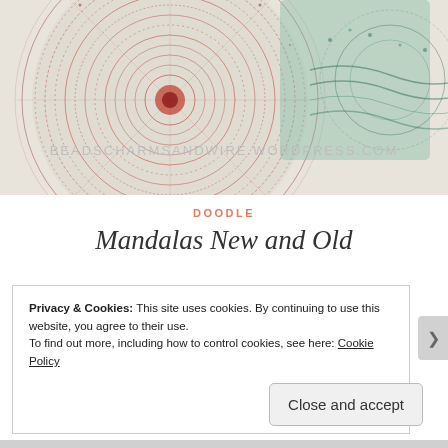[Figure (photo): Colorful mandala artwork with red circular mandala on left and teal/green patterned mandala on right, with text overlay reading BEADSCHARMSANDWIRE.WORDPRESS.COM]
DOODLE
Mandalas New and Old
July 21, 2022 · Anita · 4 Comments
I mentioned last month that I'd come across Zentangle
Privacy & Cookies: This site uses cookies. By continuing to use this website, you agree to their use.
To find out more, including how to control cookies, see here: Cookie Policy
Close and accept